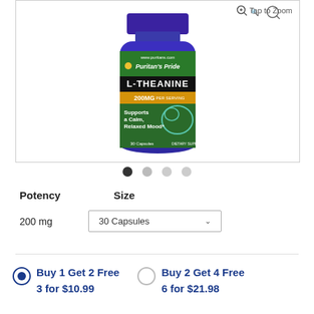[Figure (photo): Blue glass bottle of Puritan's Pride L-Theanine 200mg dietary supplement, 30 capsules, with green label showing brain illustration and text 'Supports a Calm, Relaxed Mood*']
Tap to Zoom
Potency   Size
200 mg   30 Capsules
Buy 1 Get 2 Free
3 for $10.99
Buy 2 Get 4 Free
6 for $21.98